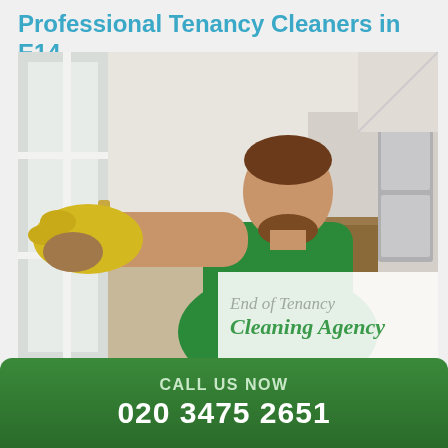Professional Tenancy Cleaners in E14
[Figure (photo): Man in green t-shirt wearing yellow rubber gloves, cleaning a white window frame in a modern apartment. End of Tenancy Cleaning Agency logo overlaid in bottom right.]
You are about to move out and you can't deal with everything
CALL US NOW
020 3475 2651